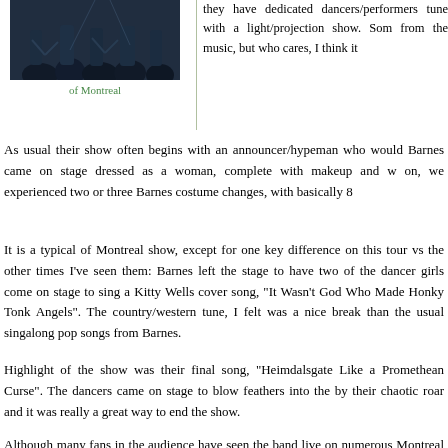[Figure (photo): A crowd/performance photo showing of Montreal concert, dark/blue tones with performers visible]
of Montreal
they have dedicated dancers/performers tune with a light/projection show. So from the music, but who cares, I think it
As usual their show often begins with an announcer/hypeman who would Barnes came on stage dressed as a woman, complete with makeup and w on, we experienced two or three Barnes costume changes, with basically 8
It is a typical of Montreal show, except for one key difference on this tour vs the other times I've seen them: Barnes left the stage to have two of the dancer girls come on stage to sing a Kitty Wells cover song, "It Wasn't God Who Made Honky Tonk Angels". The country/western tune, I felt was a nice break than the usual singalong pop songs from Barnes.
Highlight of the show was their final song, "Heimdalsgate Like a Promethean Curse". The dancers came on stage to blow feathers into the by their chaotic roar and it was really a great way to end the show.
Although many fans in the audience have seen the band live on numerous Montreal virgin" after the show, and he told me that there were things on